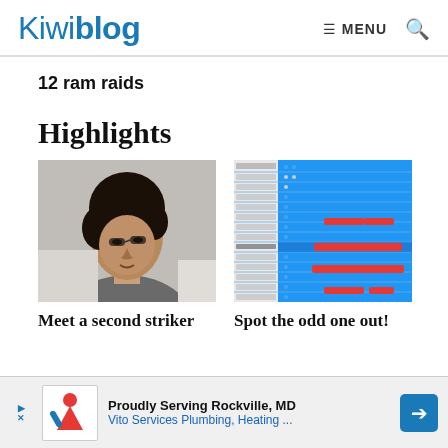Kiwiblog  ≡ MENU 🔍
12 ram raids
Highlights
[Figure (photo): Close-up photo of a man with curly dark hair looking downward, wearing a grey shirt, outdoors]
Meet a second striker
[Figure (table-as-image): Blue and red comparison chart/table with rows of data and red horizontal bars indicating outliers or comparisons]
Spot the odd one out!
[Figure (other): Advertisement: Proudly Serving Rockville, MD - Vito Services Plumbing, Heating ...]